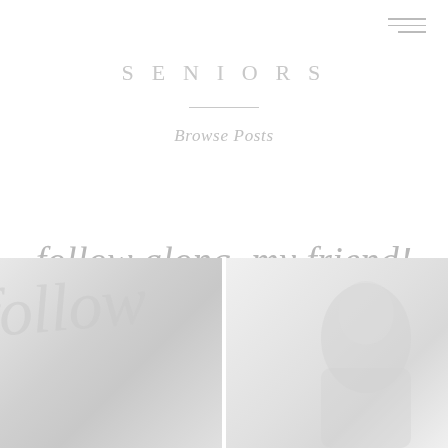[Figure (other): Hamburger menu icon (three horizontal lines) in top right corner]
SENIORS
Browse Posts
follow along, my friend!
[Figure (photo): Two faded/washed-out photographs side by side at bottom of page. Left photo shows faded cursive script overlay. Right photo shows a person's face and upper body, very washed out.]